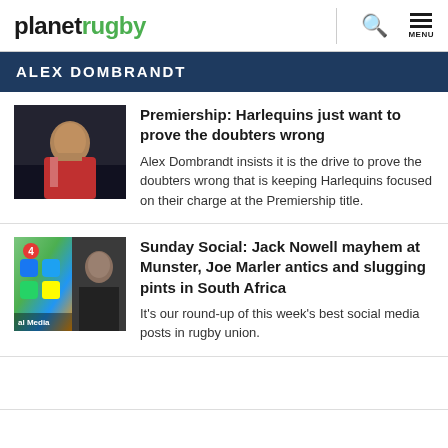planetrugby
ALEX DOMBRANDT
Premiership: Harlequins just want to prove the doubters wrong
Alex Dombrandt insists it is the drive to prove the doubters wrong that is keeping Harlequins focused on their charge at the Premiership title.
[Figure (photo): Rugby player in Harlequins jersey in a dark stadium setting]
Sunday Social: Jack Nowell mayhem at Munster, Joe Marler antics and slugging pints in South Africa
It's our round-up of this week's best social media posts in rugby union.
[Figure (photo): Split image: left side shows social media app icons on a phone screen with notification badge showing 4, right side shows a man in dark clothing]